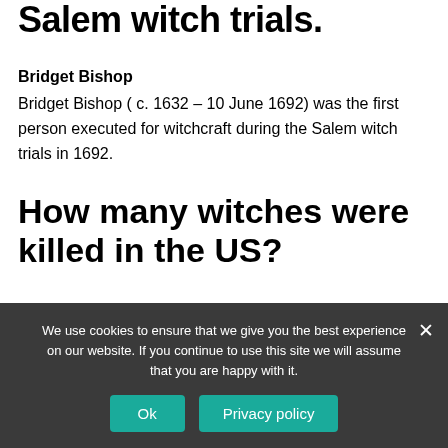Salem witch trials.
Bridget Bishop
Bridget Bishop ( c. 1632 – 10 June 1692) was the first person executed for witchcraft during the Salem witch trials in 1692.
How many witches were killed in the US?
Thirteen women and two men were executed. The Salem witch trials followed in 1692–93, culminating in the executions of 20
We use cookies to ensure that we give you the best experience on our website. If you continue to use this site we will assume that you are happy with it.